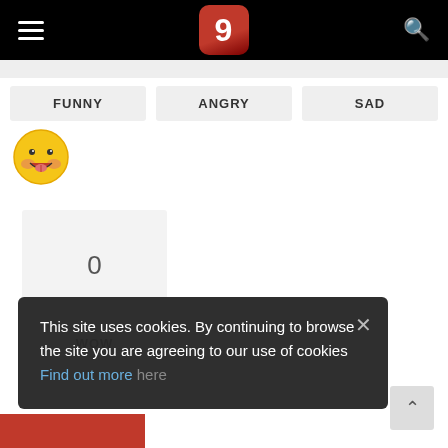9 (logo) — navigation bar with hamburger menu and search icon
FUNNY
ANGRY
SAD
[Figure (illustration): Yellow smiley face emoji with rosy cheeks and tongue]
0
WOW
This site uses cookies. By continuing to browse the site you are agreeing to our use of cookies Find out more here